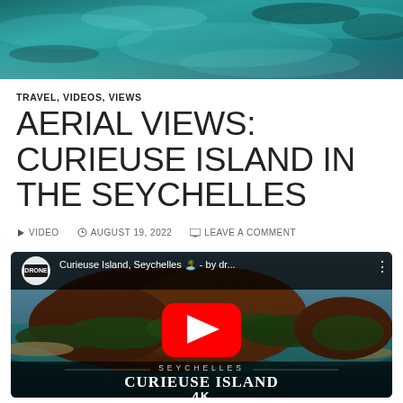[Figure (photo): Aerial photo of turquoise ocean water with islands visible, used as a banner image at the top of the page]
TRAVEL, VIDEOS, VIEWS
AERIAL VIEWS: CURIEUSE ISLAND IN THE SEYCHELLES
▶ VIDEO   🕐 AUGUST 19, 2022   💬 LEAVE A COMMENT
[Figure (screenshot): YouTube video embed showing aerial footage of Curieuse Island, Seychelles. Video thumbnail shows an aerial view of a tropical island with red/orange hills, turquoise water, and beaches. A large red YouTube play button is overlaid in the center. Text overlay reads 'Curieuse Island, Seychelles 🏝️ - by dr...' in the top bar. Bottom text shows 'SEYCHELLES' and 'CURIEUSE ISLAND' and '4K' watermark.]